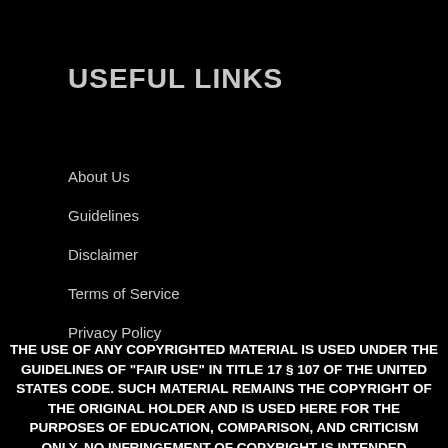USEFUL LINKS
About Us
Guidelines
Disclaimer
Terms of Service
Privacy Policy
THE USE OF ANY COPYRIGHTED MATERIAL IS USED UNDER THE GUIDELINES OF "FAIR USE" IN TITLE 17 § 107 OF THE UNITED STATES CODE. SUCH MATERIAL REMAINS THE COPYRIGHT OF THE ORIGINAL HOLDER AND IS USED HERE FOR THE PURPOSES OF EDUCATION, COMPARISON, AND CRITICISM ONLY. NO INFRINGEMENT OF COPYRIGHT IS INTENDED